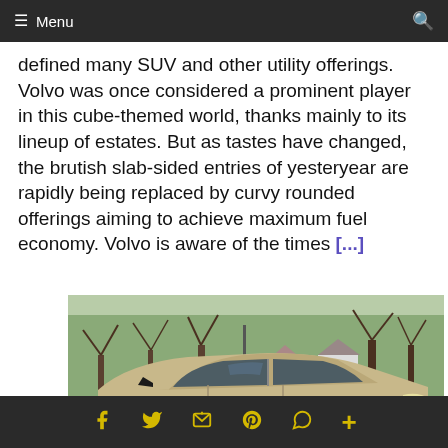≡ Menu
defined many SUV and other utility offerings. Volvo was once considered a prominent player in this cube-themed world, thanks mainly to its lineup of estates. But as tastes have changed, the brutish slab-sided entries of yesteryear are rapidly being replaced by curvy rounded offerings aiming to achieve maximum fuel economy. Volvo is aware of the times [...]
[Figure (photo): A tan/beige Mazda CX-50 SUV photographed from front-left angle in a suburban setting with bare trees and green grass in background.]
Social sharing icons: Facebook, Twitter, Email, Pinterest, WhatsApp, More